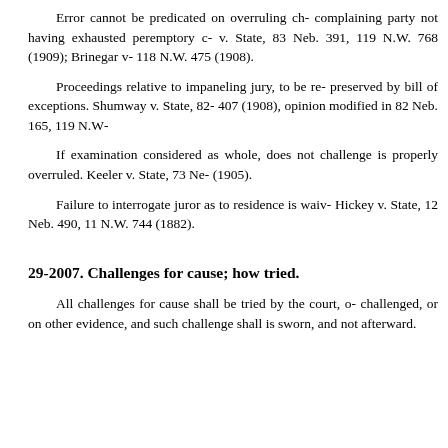Error cannot be predicated on overruling challenge, complaining party not having exhausted peremptory challenges. Holt v. State, 83 Neb. 391, 119 N.W. 768 (1909); Brinegar v. State, 83 Neb. 391, 118 N.W. 475 (1908).
Proceedings relative to impaneling jury, to be reviewed, must be preserved by bill of exceptions. Shumway v. State, 82 Neb. 401, 117 N.W. 407 (1908), opinion modified in 82 Neb. 165, 119 N.W. 481 (1908).
If examination considered as whole, does not show bias, challenge is properly overruled. Keeler v. State, 73 Neb. 548, 103 N.W. (1905).
Failure to interrogate juror as to residence is waiver of objection. Hickey v. State, 12 Neb. 490, 11 N.W. 744 (1882).
29-2007. Challenges for cause; how tried.
All challenges for cause shall be tried by the court, on oath of the challenged, or on other evidence, and such challenge shall be made before he is sworn, and not afterward.